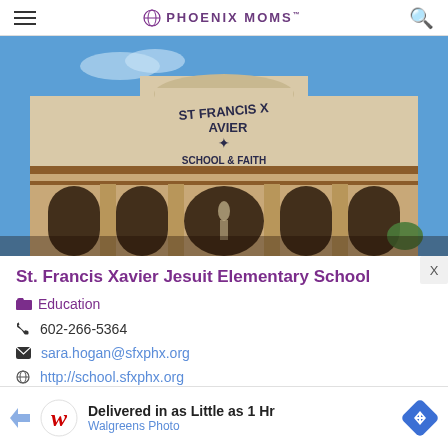PHOENIX MOMS
[Figure (photo): Exterior photo of St. Francis Xavier School and Faith Education Center building with arches and blue sky]
St. Francis Xavier Jesuit Elementary School
Education
602-266-5364
sara.hogan@sfxphx.org
http://school.sfxphx.org
Delivered in as Little as 1 Hr
Walgreens Photo